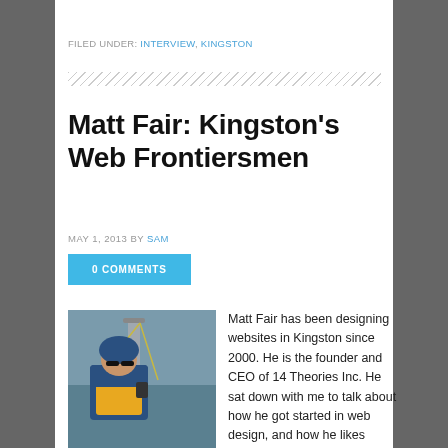FILED UNDER: INTERVIEW, KINGSTON
Matt Fair: Kingston's Web Frontiersmen
MAY 1, 2013 BY SAM
0 COMMENTS
[Figure (photo): Photo of Matt Fair on a boat wearing a blue jacket and life vest, on the water]
Matt Fair has been designing websites in Kingston since 2000. He is the founder and CEO of 14 Theories Inc. He sat down with me to talk about how he got started in web design, and how he likes working in